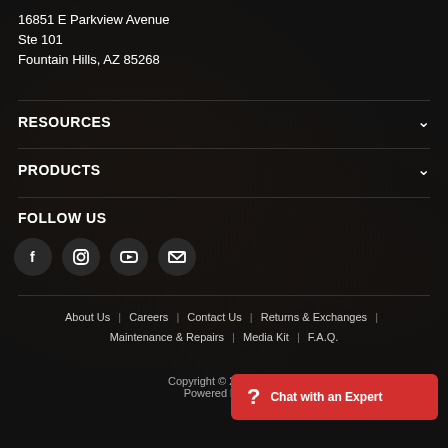16851 E Parkview Avenue
Ste 101
Fountain Hills, AZ 85268
RESOURCES
PRODUCTS
FOLLOW US
[Figure (infographic): Four social media icon circles: Facebook (f), Instagram, YouTube, Email/envelope]
About Us | Careers | Contact Us | Returns & Exchanges | Maintenance & Repairs | Media Kit | F.A.Q.
Copyright © 2022 Outc...
Powered by Sho...
[Figure (infographic): Chat with an Expert button widget with red background and question mark icon]